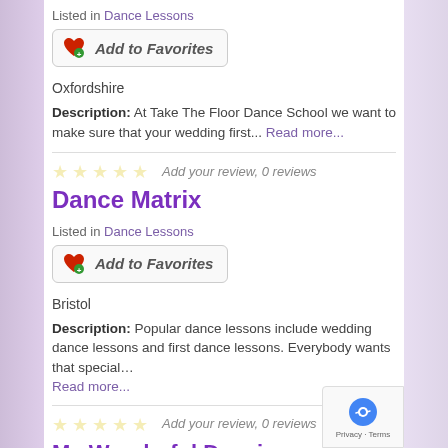Listed in Dance Lessons
[Figure (other): Add to Favorites button with heart icon]
Oxfordshire
Description: At Take The Floor Dance School we want to make sure that your wedding first... Read more...
Add your review, 0 reviews
Dance Matrix
Listed in Dance Lessons
[Figure (other): Add to Favorites button with heart icon]
Bristol
Description: Popular dance lessons include wedding dance lessons and first dance lessons. Everybody wants that special… Read more...
Add your review, 0 reviews
My Wonderful Dancing...